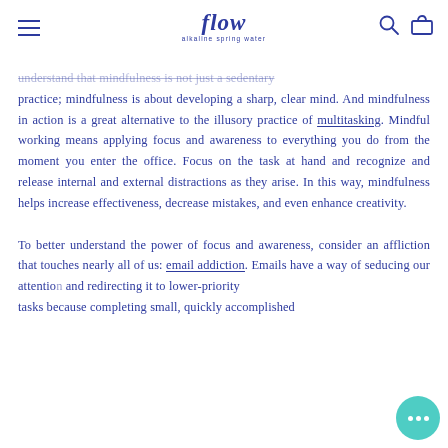flow – alkaline spring water
understand that mindfulness is not just a sedentary practice; mindfulness is about developing a sharp, clear mind. And mindfulness in action is a great alternative to the illusory practice of multitasking. Mindful working means applying focus and awareness to everything you do from the moment you enter the office. Focus on the task at hand and recognize and release internal and external distractions as they arise. In this way, mindfulness helps increase effectiveness, decrease mistakes, and even enhance creativity.

To better understand the power of focus and awareness, consider an affliction that touches nearly all of us: email addiction. Emails have a way of seducing our attention and redirecting it to lower-priority tasks because completing small, quickly accomplished